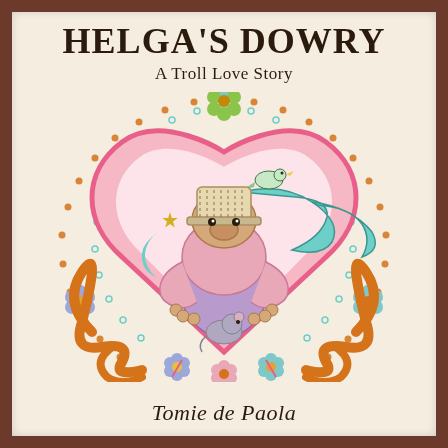HELGA'S DOWRY
A Troll Love Story
[Figure (illustration): Folk-art style illustration of two troll characters embracing inside a large pink heart, surrounded by decorative orange scrollwork, colorful flowers, dots, and a small bird on top. A teal crescent moon and star float inside the heart. A small mouse is visible at the bottom. The heart is bordered with orange and teal dot patterns.]
Tomie de Paola